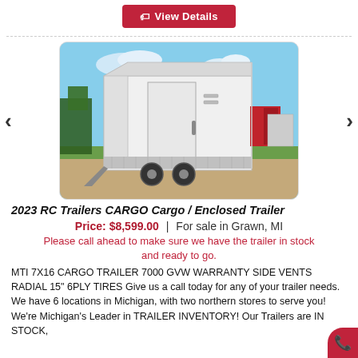View Details
[Figure (photo): White enclosed cargo trailer (2023 RC Trailers CARGO 7x16) parked on gravel/dirt lot with blue sky and green grass in background. Navigation arrows (< >) on left and right sides of image.]
2023 RC Trailers CARGO Cargo / Enclosed Trailer
Price: $8,599.00 | For sale in Grawn, MI
Please call ahead to make sure we have the trailer in stock and ready to go.
MTI 7X16 CARGO TRAILER 7000 GVW WARRANTY SIDE VENTS RADIAL 15" 6PLY TIRES Give us a call today for any of your trailer needs. We have 6 locations in Michigan, with two northern stores to serve you! We're Michigan's Leader in TRAILER INVENTORY! Our Trailers are IN STOCK,